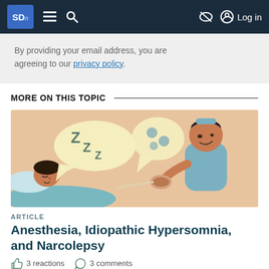SDn | Menu | Search | Log in
By providing your email address, you are agreeing to our privacy policy.
MORE ON THIS TOPIC
[Figure (illustration): Illustration of a patient lying down with a speech bubble showing 'ZZZ' indicating sleep, and a medical professional standing nearby holding a device, on a peach/salmon background]
ARTICLE
Anesthesia, Idiopathic Hypersomnia, and Narcolepsy
3 reactions   3 comments